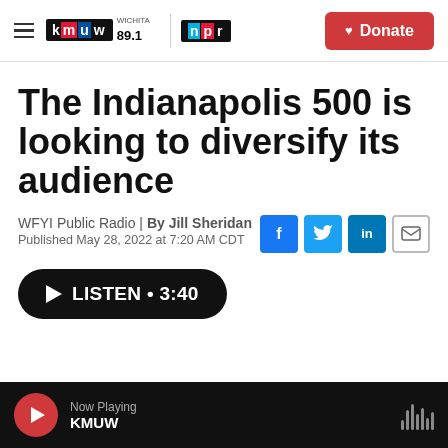KMUW WICHITA 89.1 | NPR | Donate
The Indianapolis 500 is looking to diversify its audience
WFYI Public Radio | By Jill Sheridan
Published May 28, 2022 at 7:20 AM CDT
LISTEN • 3:40
Now Playing KMUW